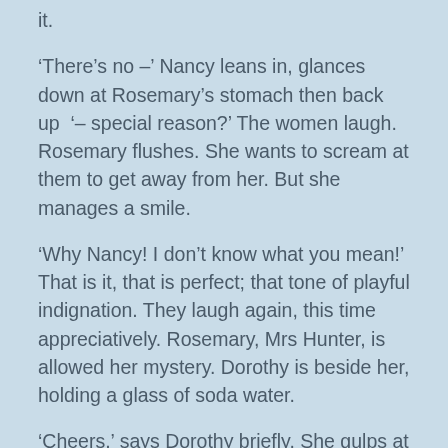it.
'There's no –' Nancy leans in, glances down at Rosemary's stomach then back up '– special reason?' The women laugh. Rosemary flushes. She wants to scream at them to get away from her. But she manages a smile.
'Why Nancy! I don't know what you mean!' That is it, that is perfect; that tone of playful indignation. They laugh again, this time appreciatively. Rosemary, Mrs Hunter, is allowed her mystery. Dorothy is beside her, holding a glass of soda water.
'Cheers,' says Dorothy briefly. She gulps at her martini and glances over to where Karl, Harry and Richard are greeting a tall man – is he Italian?